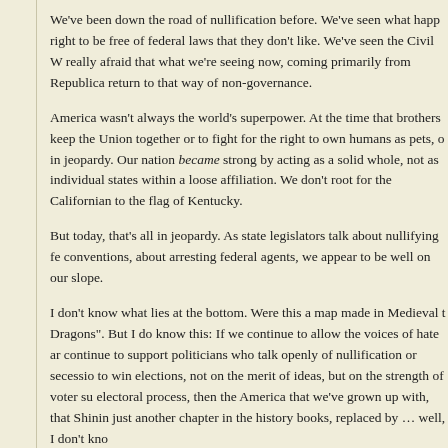We've been down the road of nullification before. We've seen what happ right to be free of federal laws that they don't like. We've seen the Civil W really afraid that what we're seeing now, coming primarily from Republica return to that way of non-governance.
America wasn't always the world's superpower. At the time that brothers keep the Union together or to fight for the right to own humans as pets, o in jeopardy. Our nation became strong by acting as a solid whole, not as individual states within a loose affiliation. We don't root for the Californian to the flag of Kentucky.
But today, that's all in jeopardy. As state legislators talk about nullifying fe conventions, about arresting federal agents, we appear to be well on our slope.
I don't know what lies at the bottom. Were this a map made in Medieval t Dragons". But I do know this: If we continue to allow the voices of hate ar continue to support politicians who talk openly of nullification or secessio to win elections, not on the merit of ideas, but on the strength of voter su electoral process, then the America that we've grown up with, that Shinin just another chapter in the history books, replaced by … well, I don't kno
We have to stand up to the voices that, whether intentionally or not, are le places to which we don't want to go. If we don't want these days to be the then we have to stand up, make our voices heard, and bring an end to th